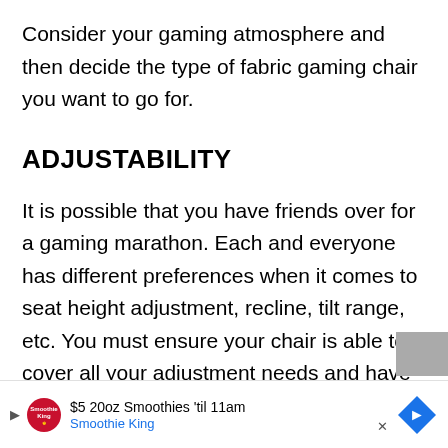Consider your gaming atmosphere and then decide the type of fabric gaming chair you want to go for.
ADJUSTABILITY
It is possible that you have friends over for a gaming marathon. Each and everyone has different preferences when it comes to seat height adjustment, recline, tilt range, etc. You must ensure your chair is able to cover all your adjustment needs and have room for other people's preferences too.
[Figure (other): Advertisement banner for Smoothie King: '$5 20oz Smoothies til 11am' with Smoothie King logo and a blue diamond-shaped navigation icon.]